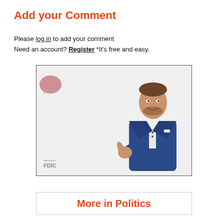Add your Comment
Please log in to add your comment
Need an account? Register *It's free and easy.
[Figure (photo): Advertisement image showing a man in a navy blue suit giving a thumbs up gesture, with a partially visible bank logo (appears to be a capital one style mark) in the top-left and 'Member FDIC' text in the bottom-left corner. Background is light grey.]
More in Politics